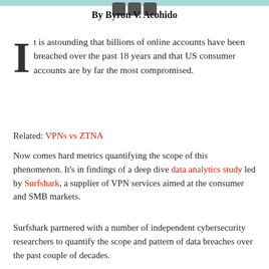By Byron V. Acohido
It is astounding that billions of online accounts have been breached over the past 18 years and that US consumer accounts are by far the most compromised.
Related: VPNs vs ZTNA
Now comes hard metrics quantifying the scope of this phenomenon. It's in findings of a deep dive data analytics study led by Surfshark, a supplier of VPN services aimed at the consumer and SMB markets.
Surfshark partnered with a number of independent cybersecurity researchers to quantify the scope and pattern of data breaches over the past couple of decades. For this study, a data breach was defined as an intruder copying or leaking user data such as names, surnames, email addresses, passwords, etc. Much of the hard evidence came from correlating breached databases sitting in the open Internet.
Data scientists sorted through 27,000 leaked databases and created 5 billion combinations of data. Researchers could then sort those combinations based on specific data points, such as countries, and perform a statistical analysis of their findings.